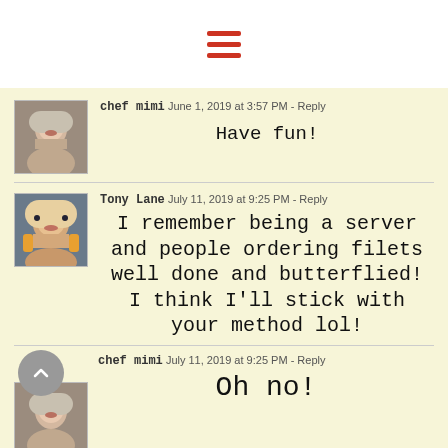[Figure (other): Hamburger menu icon with three red horizontal bars]
chef mimi  June 1, 2019 at 3:57 PM  -  Reply
Have fun!
Tony Lane  July 11, 2019 at 9:25 PM  -  Reply
I remember being a server and people ordering filets well done and butterflied! I think I'll stick with your method lol!
chef mimi  July 11, 2019 at 9:25 PM  -  Reply
Oh no!